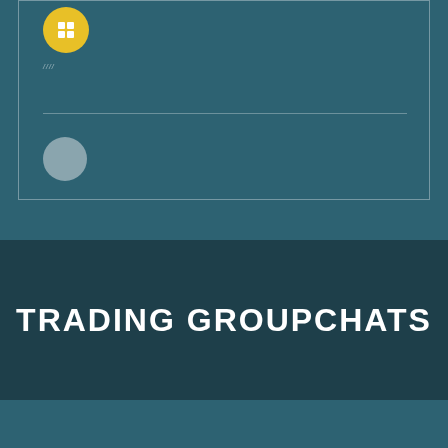[Figure (illustration): A card/panel with a yellow circle icon containing a grid of four white squares at the top left, small italic text reading '////' below the icon, a horizontal divider line, and a gray circle below the divider. The card sits on a teal/slate blue background.]
TRADING GROUPCHATS